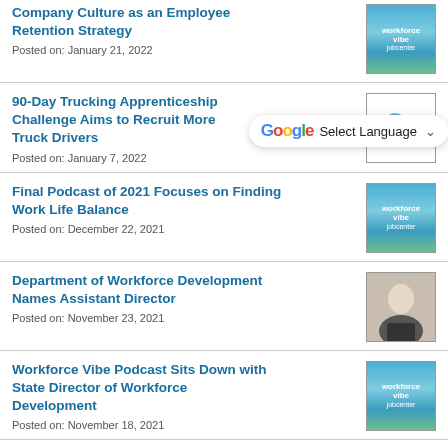Company Culture as an Employee Retention Strategy
Posted on: January 21, 2022
90-Day Trucking Apprenticeship Challenge Aims to Recruit More Truck Drivers
Posted on: January 7, 2022
Final Podcast of 2021 Focuses on Finding Work Life Balance
Posted on: December 22, 2021
Department of Workforce Development Names Assistant Director
Posted on: November 23, 2021
Workforce Vibe Podcast Sits Down with State Director of Workforce Development
Posted on: November 18, 2021